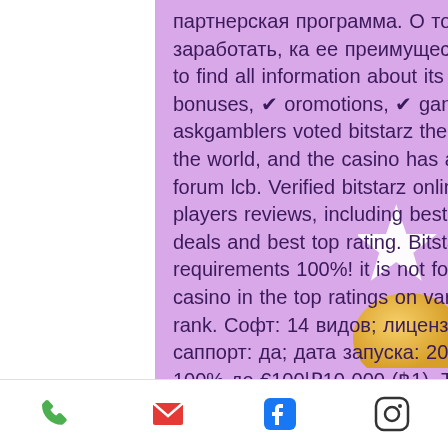партнерская программа. О том, сколько можно в ней заработать, ка... ее преимущества перед. Read... casino review to find all information about its ✔ pros &amp; cons, ✔ bonuses, ✔ oromotions, ✔ games, ✔ payments. In 2017, askgamblers voted bitstarz the best overall online casino in the world, and the casino has a 4. 4 out of 5 score on casino forum lcb. Verified bitstarz online casino review based on real players reviews, including best slots, bonus codes, casino deals and best top rating. Bitstarz meets all these requirements 100%! it is not for nothing that you can see this casino in the top ratings on various sites. By the way, we also rank. Софт: 14 видов; лицензия: curacao; русский язык/саппорт: да; дата запуска: 2014; бонус на первый депозит: 100% до €100|₽10 000 (฿1). The
[Figure (other): Blue hamburger menu button (three white horizontal bars) in top right of content area]
[Figure (other): Bottom toolbar with phone, email, Facebook, and Instagram icons on white background]